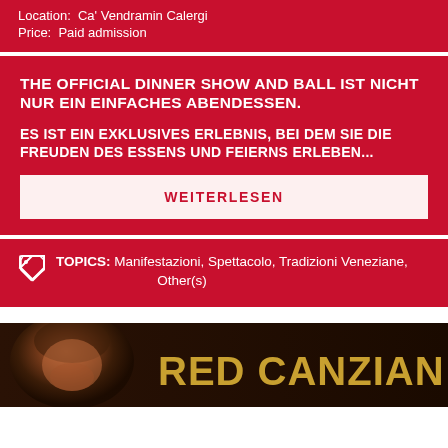Location: Ca' Vendramin Calergi
Price: Paid admission
THE OFFICIAL DINNER SHOW AND BALL IST NICHT NUR EIN EINFACHES ABENDESSEN.
ES IST EIN EXKLUSIVES ERLEBNIS, BEI DEM SIE DIE FREUDEN DES ESSENS UND FEIERNS ERLEBEN...
WEITERLESEN
TOPICS: Manifestazioni, Spettacolo, Tradizioni Veneziane, Other(s)
[Figure (photo): Red Canzian banner with a man's face on the left and the text RED CANZIAN in gold on dark background]